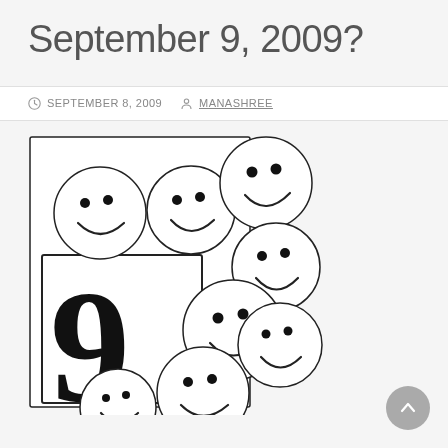September 9, 2009?
SEPTEMBER 8, 2009   MANASHREE
[Figure (illustration): An illustration showing a large number 9 in a bordered box with multiple smiley face circles arranged around and overlapping the numeral, all in black and white line art style.]